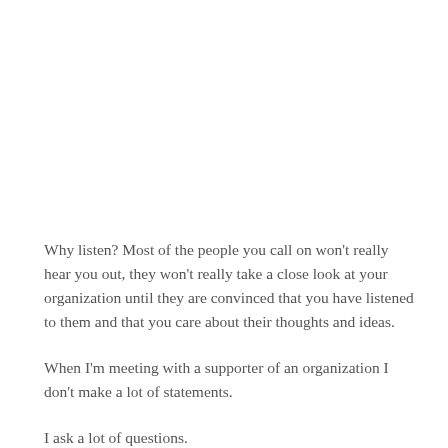Why listen? Most of the people you call on won't really hear you out, they won't really take a close look at your organization until they are convinced that you have listened to them and that you care about their thoughts and ideas.
When I'm meeting with a supporter of an organization I don't make a lot of statements.
I ask a lot of questions.